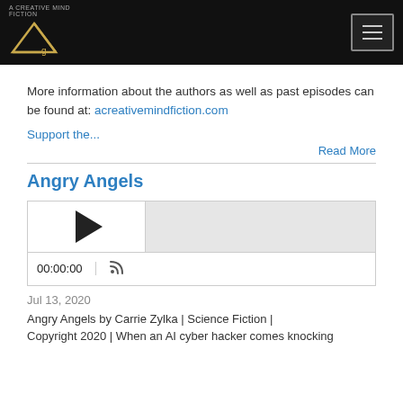A Creative Mind Fiction logo and navigation
More information about the authors as well as past episodes can be found at: acreativemindfiction.com
Support the...
Read More
Angry Angels
[Figure (other): Audio player widget with play button, progress bar, time display 00:00:00, and RSS icon]
Jul 13, 2020
Angry Angels by Carrie Zylka | Science Fiction | Copyright 2020 | When an AI cyber hacker comes knocking